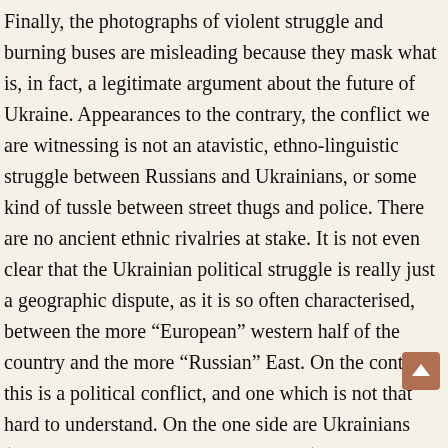Finally, the photographs of violent struggle and burning buses are misleading because they mask what is, in fact, a legitimate argument about the future of Ukraine. Appearances to the contrary, the conflict we are witnessing is not an atavistic, ethno-linguistic struggle between Russians and Ukrainians, or some kind of tussle between street thugs and police. There are no ancient ethnic rivalries at stake. It is not even clear that the Ukrainian political struggle is really just a geographic dispute, as it is so often characterised, between the more “European” western half of the country and the more “Russian” East. On the contrary, this is a political conflict, and one which is not that hard to understand. On the one side are Ukrainians (both Russian and Ukrainian-speaking) who want to live in a “European” democracy with human rights and rule of law, one which is genuinely integrated with the European Union and the rest of the world. The proponents of this “Euro...